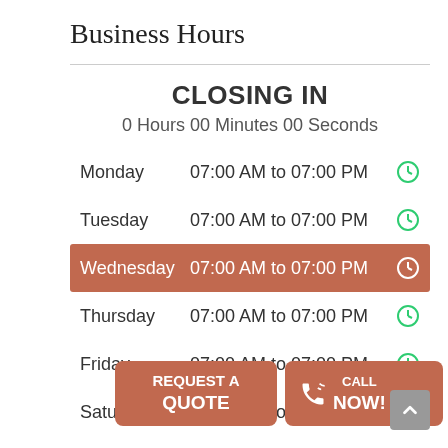Business Hours
CLOSING IN
0 Hours 00 Minutes 00 Seconds
| Day | Hours | Status |
| --- | --- | --- |
| Monday | 07:00 AM to 07:00 PM |  |
| Tuesday | 07:00 AM to 07:00 PM |  |
| Wednesday | 07:00 AM to 07:00 PM | current |
| Thursday | 07:00 AM to 07:00 PM |  |
| Friday | 07:00 AM to 07:00 PM |  |
| Saturday | 09:00 AM to 01:00 PM |  |
[Figure (infographic): Two orange call-to-action buttons: REQUEST A QUOTE and CALL NOW! with phone icon]
[Figure (infographic): Gray scroll-to-top button with upward arrow chevron in bottom right corner]